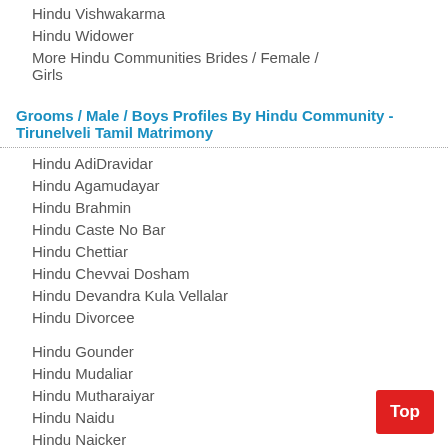Hindu Vishwakarma
Hindu Widower
More Hindu Communities Brides / Female / Girls
Grooms / Male / Boys Profiles By Hindu Community - Tirunelveli Tamil Matrimony
Hindu AdiDravidar
Hindu Agamudayar
Hindu Brahmin
Hindu Caste No Bar
Hindu Chettiar
Hindu Chevvai Dosham
Hindu Devandra Kula Vellalar
Hindu Divorcee
Hindu Gounder
Hindu Mudaliar
Hindu Mutharaiyar
Hindu Naidu
Hindu Naicker
Hindu Nadar
Hindu Pillai